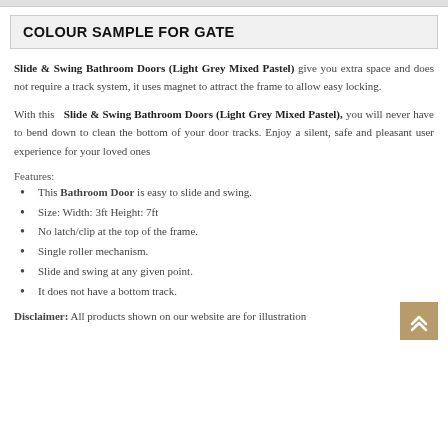COLOUR SAMPLE FOR GATE
Slide & Swing Bathroom Doors (Light Grey Mixed Pastel) give you extra space and does not require a track system, it uses magnet to attract the frame to allow easy locking.
With this Slide & Swing Bathroom Doors (Light Grey Mixed Pastel), you will never have to bend down to clean the bottom of your door tracks. Enjoy a silent, safe and pleasant user experience for your loved ones
Features:
This Bathroom Door is easy to slide and swing.
Size: Width: 3ft Height: 7ft
No latch/clip at the top of the frame.
Single roller mechanism.
Slide and swing at any given point.
It does not have a bottom track.
Disclaimer: All products shown on our website are for illustration